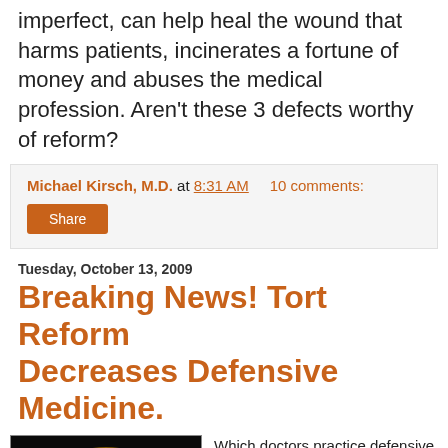imperfect, can help heal the wound that harms patients, incinerates a fortune of money and abuses the medical profession. Aren't these 3 defects worthy of reform?
Michael Kirsch, M.D. at 8:31 AM    10 comments:
Share
Tuesday, October 13, 2009
Breaking News! Tort Reform Decreases Defensive Medicine.
[Figure (photo): Gold Nobel Prize medal showing profile of Alfred Nobel in relief, with Latin text around the border]
Which doctors practice defensive medicine? Only those who are breathing. The president, however, wasn't convinced of this reality when he spoke to the nation on September 9th at a joint session of Congress.